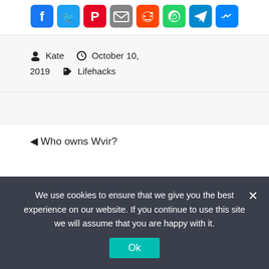[Figure (infographic): Row of social media share icons: Facebook, Twitter, Pinterest, Email, Reddit, WhatsApp, Telegram, Messenger]
Kate  October 10, 2019  Lifehacks
◄ Who owns Wvir?
We use cookies to ensure that we give you the best experience on our website. If you continue to use this site we will assume that you are happy with it. Ok